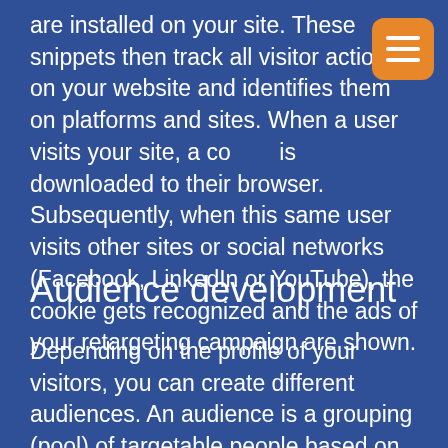are installed on your site. These snippets then track all visitor action on your website and identifies them on platforms and sites. When a user visits your site, a cookie is downloaded to their browser. Subsequently, when this same user visits other sites or social networks (Facebook, LinkedIn or YouTube), the cookie gets recognized and the ads of your retargeting campaign are shown.
Audience development
Depending on the profile of your visitors, you can create different audiences. An audience is a grouping (pool) of targetable people based on factors like their interests, buying journey, age, and many other defining statistics. To maximize your return on investment, it's therefore